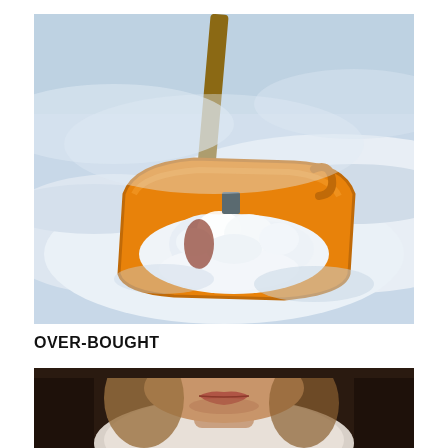[Figure (photo): Close-up photograph of an orange snow shovel scooping snow, with a snowy landscape in the background.]
OVER-BOUGHT
[Figure (photo): Close-up photograph of a person's lower face and neck, wearing a white sweater, with a dark blurred background.]